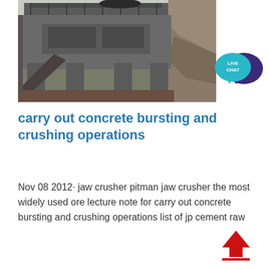[Figure (photo): Industrial jaw crusher machine mounted on concrete supports at a quarry or mining site, with rock face visible in background]
[Figure (other): Live Chat button icon — teal speech bubble with 'LIVE CHAT' text and dark purple speech bubble overlapping]
carry out concrete bursting and crushing operations
Nov 08 2012· jaw crusher pitman jaw crusher the most widely used ore lecture note for carry out concrete bursting and crushing operations list of jp cement raw
[Figure (other): Red upward arrow icon with a red underline — scroll-to-top button]